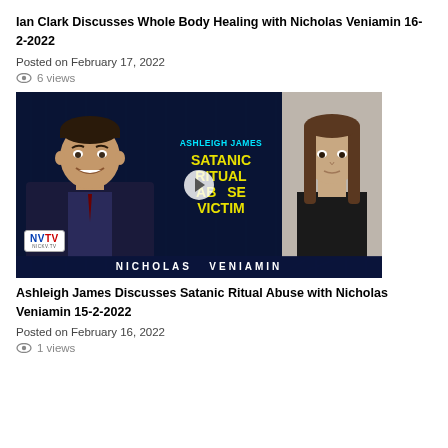Ian Clark Discusses Whole Body Healing with Nicholas Veniamin 16-2-2022
Posted on February 17, 2022
6 views
[Figure (screenshot): Video thumbnail for Ashleigh James Discusses Satanic Ritual Abuse with Nicholas Veniamin 15-2-2022. Shows a man on the left, yellow bold text in the center reading 'ASHLEIGH JAMES SATANIC RITUAL ABUSE VICTIM', NVTV logo at bottom left, a woman on the right, and 'NICHOLAS VENIAMIN' banner at the bottom.]
Ashleigh James Discusses Satanic Ritual Abuse with Nicholas Veniamin 15-2-2022
Posted on February 16, 2022
1 views